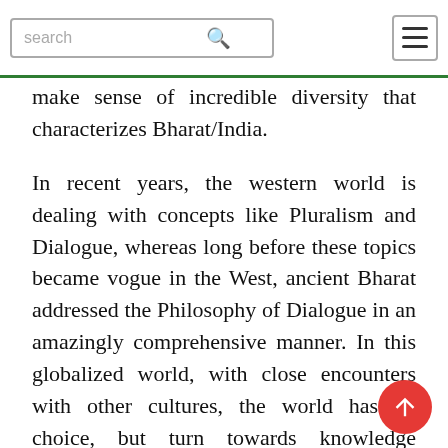search [search icon] [hamburger menu]
make sense of incredible diversity that characterizes Bharat/India.
In recent years, the western world is dealing with concepts like Pluralism and Dialogue, whereas long before these topics became vogue in the West, ancient Bharat addressed the Philosophy of Dialogue in an amazingly comprehensive manner. In this globalized world, with close encounters with other cultures, the world has no choice, but turn towards knowledge systems that Bharat had worked out. India no longer can afford to ignore Bharat.
What ails universities in India is much more than ignoring Bharat; in fact, it is becoming cataclysmic. The Left dominated universities packed with what Vivek